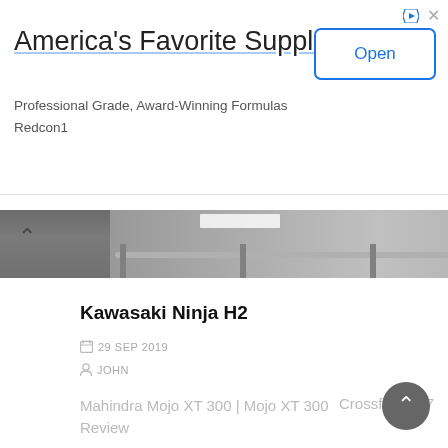[Figure (screenshot): Advertisement banner for Redcon1 supplements with title 'America's Favorite Supplements', subtitle 'Professional Grade, Award-Winning Formulas', brand 'Redcon1', and an 'Open' button]
[Figure (photo): Partial photo of a Kawasaki Ninja H2 motorcycle, showing the bottom portion with exhaust pipes and stands against a background]
Kawasaki Ninja H2
29 SEP 2019
JOHN
Mahindra Mojo XT 300 | Mojo XT 300 Review
Crossfire GR7